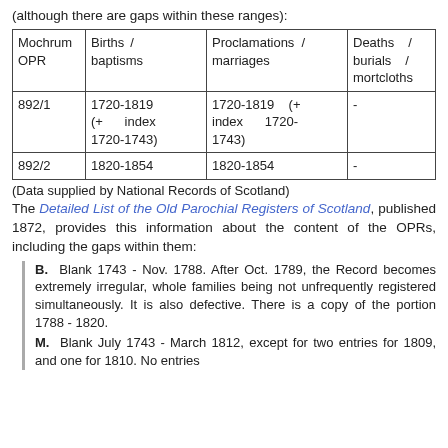(although there are gaps within these ranges):
| Mochrum OPR | Births / baptisms | Proclamations / marriages | Deaths / burials / mortcloths |
| --- | --- | --- | --- |
| 892/1 | 1720-1819 (+ index 1720-1743) | 1720-1819 (+ index 1720-1743) | - |
| 892/2 | 1820-1854 | 1820-1854 | - |
(Data supplied by National Records of Scotland)
The Detailed List of the Old Parochial Registers of Scotland, published 1872, provides this information about the content of the OPRs, including the gaps within them:
B. Blank 1743 - Nov. 1788. After Oct. 1789, the Record becomes extremely irregular, whole families being not unfrequently registered simultaneously. It is also defective. There is a copy of the portion 1788 - 1820.
M. Blank July 1743 - March 1812, except for two entries for 1809, and one for 1810. No entries